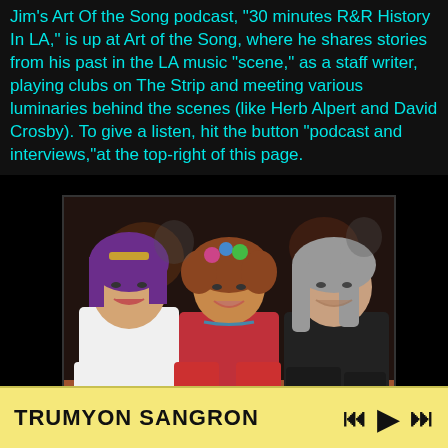Jim's Art Of the Song podcast, "30 minutes R&R History In LA," is up at Art of the Song, where he shares stories from his past in the LA music "scene," as a staff writer, playing clubs on The Strip and meeting various luminaries behind the scenes (like Herb Alpert and David Crosby). To give a listen, hit the button "podcast and interviews,"at the top-right of this page.
[Figure (photo): Three people sitting at a restaurant table with drinks. On the left is a woman with purple hair in a white top holding a pink cocktail. In the middle is a woman with curly reddish hair wearing a floral headpiece and colorful outfit. On the right is an older man with long gray hair wearing a black shirt, holding a drink. Warm restaurant lighting in background.]
TRUMYON SANGRON